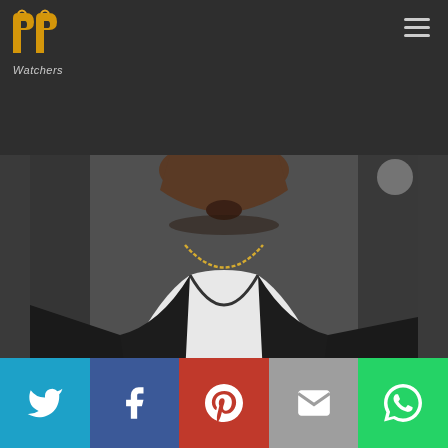[Figure (logo): PP Watchers logo — two P shapes in yellow/orange with Watchers text below]
[Figure (photo): Cropped photo of Nas (rapper) from chin down, wearing black jacket over white shirt with gold necklace, dark background]
Nas
Character : Self
[Figure (infographic): Social share bar with Twitter (blue), Facebook (dark blue), Pinterest (red), Email (grey), WhatsApp (green) icons]